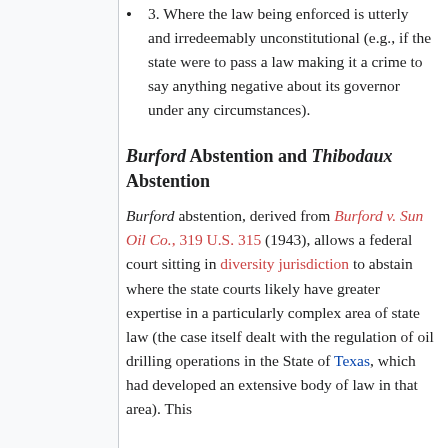3. Where the law being enforced is utterly and irredeemably unconstitutional (e.g., if the state were to pass a law making it a crime to say anything negative about its governor under any circumstances).
Burford Abstention and Thibodaux Abstention
Burford abstention, derived from Burford v. Sun Oil Co., 319 U.S. 315 (1943), allows a federal court sitting in diversity jurisdiction to abstain where the state courts likely have greater expertise in a particularly complex area of state law (the case itself dealt with the regulation of oil drilling operations in the State of Texas, which had developed an extensive body of law in that area). This